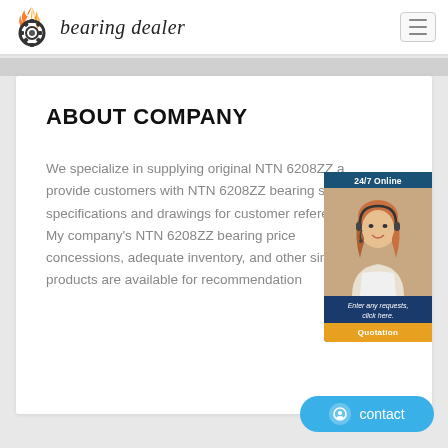[Figure (logo): Bearing dealer logo with flaming gear icon and italic brand text 'bearing dealer']
ABOUT COMPANY
We specialize in supplying original NTN 6208ZZ and provide customers with NTN 6208ZZ bearing size specifications and drawings for customer reference. My company's NTN 6208ZZ bearing price concessions, adequate inventory, and other similar products are available for recommendation
[Figure (photo): 24/7 Online chat widget showing a woman with headset, text 'Enter any requests, click here.' and a Quotation button]
[Figure (other): Blue contact button with chat icon at bottom right]